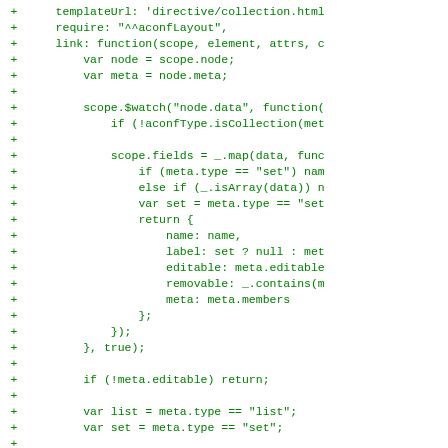Code diff showing JavaScript code additions with + markers, including templateUrl, require, link function with scope.$watch, scope.fields mapping, if/else conditionals, return object with name/label/editable/removable/meta properties, closing brackets, if (!meta.editable) return, var list and var set assignments, function insert(name) definition with return $q(function(resolve, rej...